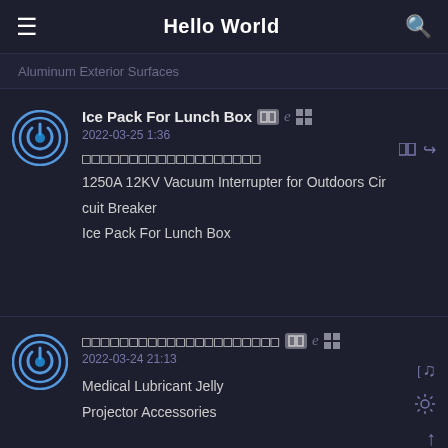Hello World
Aluminum Exterior Surfaces
Ice Pack For Lunch Box  2022-03-25 1:36

[CJK characters]
1250A 12KV Vacuum Interrupter for Outdoors Circuit Breaker
Ice Pack For Lunch Box
[CJK characters]  2022-03-24 21:13

Medical Lubricant Jelly
Projector Accessories